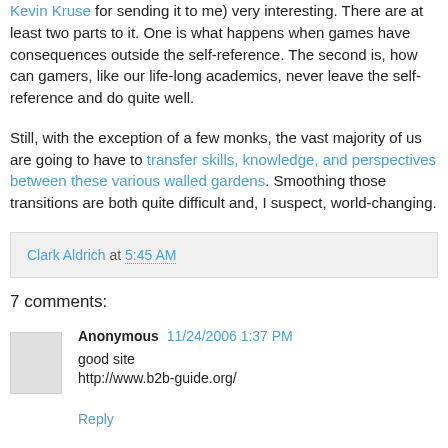Kevin Kruse for sending it to me) very interesting. There are at least two parts to it. One is what happens when games have consequences outside the self-reference. The second is, how can gamers, like our life-long academics, never leave the self-reference and do quite well.
Still, with the exception of a few monks, the vast majority of us are going to have to transfer skills, knowledge, and perspectives between these various walled gardens. Smoothing those transitions are both quite difficult and, I suspect, world-changing.
Clark Aldrich at 5:45 AM
7 comments:
Anonymous 11/24/2006 1:37 PM
good site
http://www.b2b-guide.org/
Reply